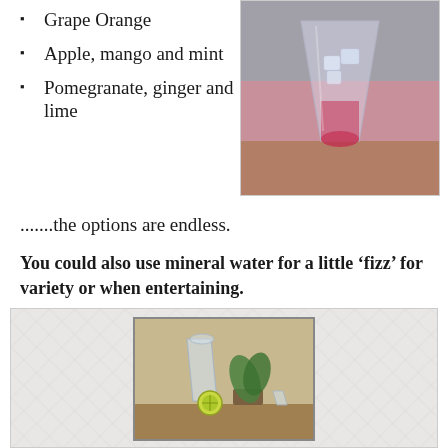Grape Orange
Apple, mango and mint
Pomegranate, ginger and lime
[Figure (photo): A glass with a pink/red drink and ice on a wooden surface]
.......the options are endless.
You could also use mineral water for a little ‘fizz’ for variety or when entertaining.
[Figure (photo): A carafe with water, lime slices and a plant on a surface, inside a light gray box with a diamond pattern background]